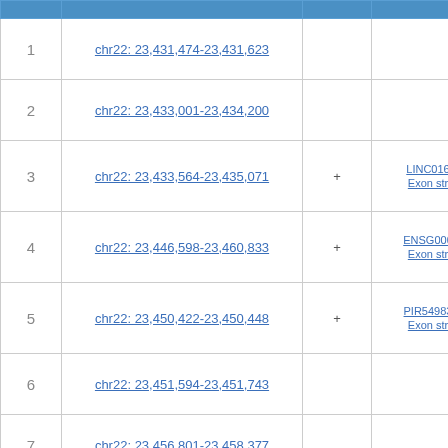|  | Coordinates | Strand | Gene/Feature |
| --- | --- | --- | --- |
| 1 | chr22: 23,431,474-23,431,623 |  |  |
| 2 | chr22: 23,433,001-23,434,200 |  |  |
| 3 | chr22: 23,433,564-23,435,071 | + | LINC016… / Exon str… |
| 4 | chr22: 23,446,598-23,460,833 | + | ENSG000… / Exon str… |
| 5 | chr22: 23,450,422-23,450,448 | + | PIR54983… / Exon str… |
| 6 | chr22: 23,451,594-23,451,743 |  |  |
| 7 | chr22: 23,456,801-23,458,377 |  |  |
| 8 | chr22: 23,458,770-23,459,710 |  |  |
| 9 | chr22: 23,459,854-23,460,003 |  |  |
| 10 | chr22: 23,460,794-23,460,943 |  |  |
| 11 | chr22: 23,462,082-23,486,980 |  | LINC016… |